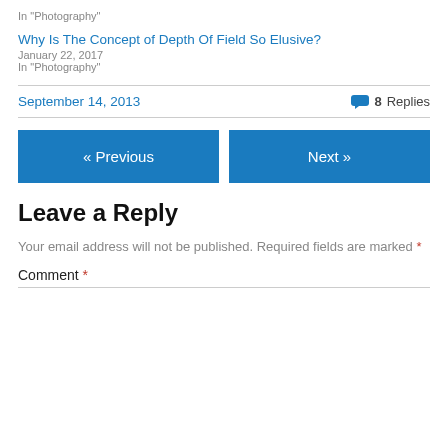In "Photography"
Why Is The Concept of Depth Of Field So Elusive?
January 22, 2017
In "Photography"
September 14, 2013
8 Replies
« Previous
Next »
Leave a Reply
Your email address will not be published. Required fields are marked *
Comment *